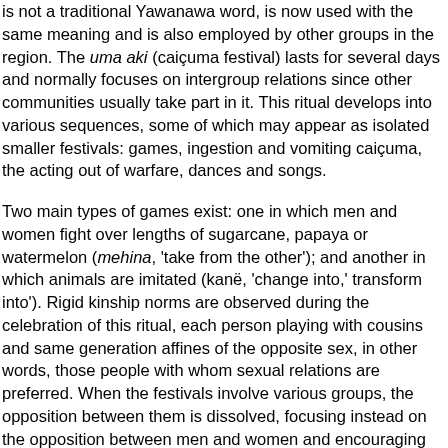is not a traditional Yawanawa word, is now used with the same meaning and is also employed by other groups in the region. The uma aki (caiçuma festival) lasts for several days and normally focuses on intergroup relations since other communities usually take part in it. This ritual develops into various sequences, some of which may appear as isolated smaller festivals: games, ingestion and vomiting caiçuma, the acting out of warfare, dances and songs.
Two main types of games exist: one in which men and women fight over lengths of sugarcane, papaya or watermelon (mehina, 'take from the other'); and another in which animals are imitated (kanë, 'change into,' transform into'). Rigid kinship norms are observed during the celebration of this ritual, each person playing with cousins and same generation affines of the opposite sex, in other words, those people with whom sexual relations are preferred. When the festivals involve various groups, the opposition between them is dissolved, focusing instead on the opposition between men and women and encouraging alliances through matrimonial unions.
Manioc caiçuma – a drink fermented by women's saliva – plays an important role in this ritual. Women produce and offer it to men, who in turn must vomit it over the women. The process